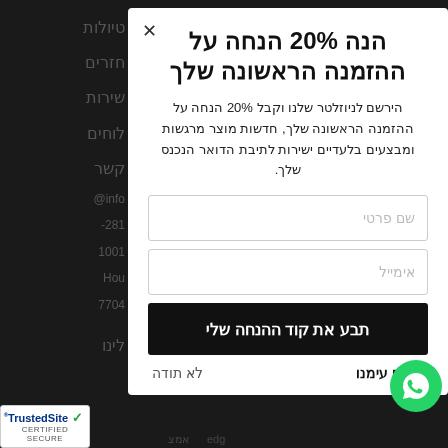[Figure (screenshot): Dark background website with Hebrew navigation text on the left side]
הנה 20% הנחה על ההזמנה הראשונה שלך
הירשם לניוזלטר שלנו וקבל 20% הנחה על ההזמנה הראשונה שלך, חדשות מוצר מרגשות ומבצעים בלעדיים ישירות לתיבת הדואר הנכנס שלך.
שם פרטי
אימייל
תבע את קוד ההנחה שלי
שוחח עימנו
לא תודה